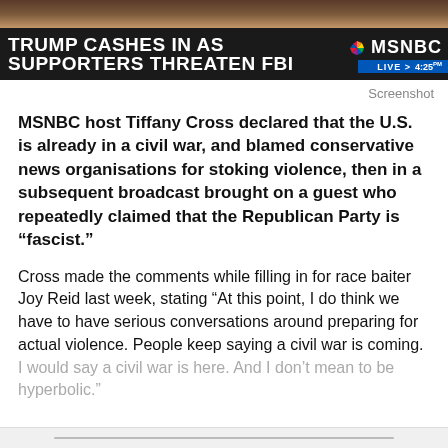[Figure (screenshot): MSNBC TV screenshot banner showing headline: TRUMP CASHES IN AS SUPPORTERS THREATEN FBI, with MSNBC logo and LIVE 4:25 timestamp]
Screenshot
MSNBC host Tiffany Cross declared that the U.S. is already in a civil war, and blamed conservative news organisations for stoking violence, then in a subsequent broadcast brought on a guest who repeatedly claimed that the Republican Party is “fascist.”
Cross made the comments while filling in for race baiter Joy Reid last week, stating “At this point, I do think we have to have serious conversations around preparing for actual violence. People keep saying a civil war is coming. I would say a civil war is here. And I don’t mean to be hyperbolic.”